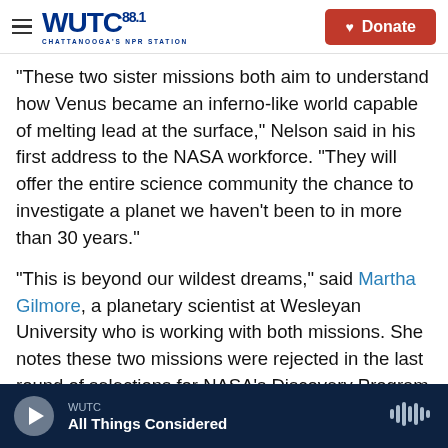WUTC 88.1 CHATTANOOGA'S NPR STATION | Donate
"These two sister missions both aim to understand how Venus became an inferno-like world capable of melting lead at the surface," Nelson said in his first address to the NASA workforce. "They will offer the entire science community the chance to investigate a planet we haven't been to in more than 30 years."
"This is beyond our wildest dreams," said Martha Gilmore, a planetary scientist at Wesleyan University who is working with both missions. She notes these two missions were rejected in the last round of selections for NASA's Discovery Program
WUTC | All Things Considered